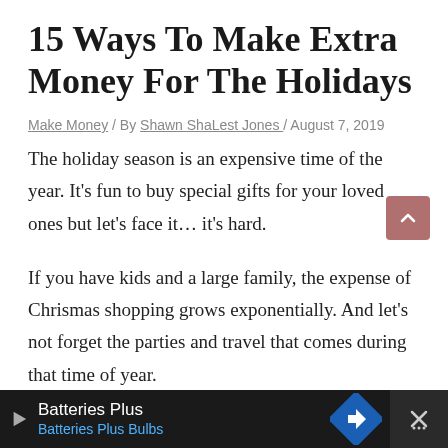15 Ways To Make Extra Money For The Holidays
Make Money / By Shawn ShaLest Jones / August 7, 2019
The holiday season is an expensive time of the year. It's fun to buy special gifts for your loved ones but let's face it… it's hard.
If you have kids and a large family, the expense of Chrismas shopping grows exponentially.  And let's not forget the parties and travel that comes during that time of year.
There are multiple ways to make extra money before the holiday season begins.  In this blog post, I'm going to show you ways make to $1000 or more before the holiday season be…
[Figure (other): Bottom advertisement bar for Batteries Plus / Batteries Plus Bulbs with play button icon, blue direction sign icon, and close button]